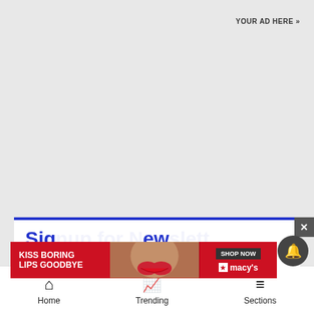YOUR AD HERE »
[Figure (screenshot): Modal dialog with blue top border, showing partial text 'Sign up for Newsletter' with subtitle starting 'Enter...']
[Figure (infographic): Macy's banner advertisement: red background with 'KISS BORING LIPS GOODBYE' text, photo of woman, 'SHOP NOW' button, and Macy's star logo]
[Figure (other): Dark circular notification bell button]
Home | Trending | Sections